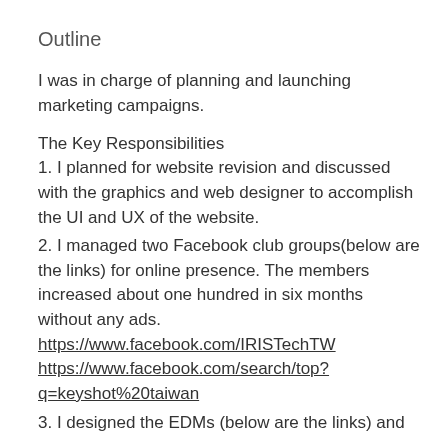Outline
I was in charge of planning and launching marketing campaigns.
The Key Responsibilities
1. I planned for website revision and discussed with the graphics and web designer to accomplish the UI and UX of the website.
2. I managed two Facebook club groups(below are the links) for online presence. The members increased about one hundred in six months without any ads.
https://www.facebook.com/IRISTechTW
https://www.facebook.com/search/top?q=keyshot%20taiwan
3. I designed the EDMs (below are the links) and